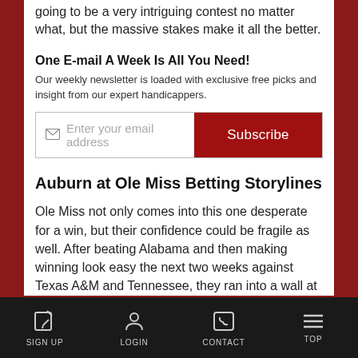going to be a very intriguing contest no matter what, but the massive stakes make it all the better.
One E-mail A Week Is All You Need!
Our weekly newsletter is loaded with exclusive free picks and insight from our expert handicappers.
[Figure (other): Email subscription input field with envelope icon and placeholder text 'Enter your email address', with a red Subscribe button]
Auburn at Ole Miss Betting Storylines
Ole Miss not only comes into this one desperate for a win, but their confidence could be fragile as well. After beating Alabama and then making winning look easy the next two weeks against Texas A&M and Tennessee, they ran into a wall at LSU. The Rebels and the Tigers played a game that wouldn't have been loved by fans of offense, and the ending was
SIGN UP  LOGIN  CONTACT  TOP